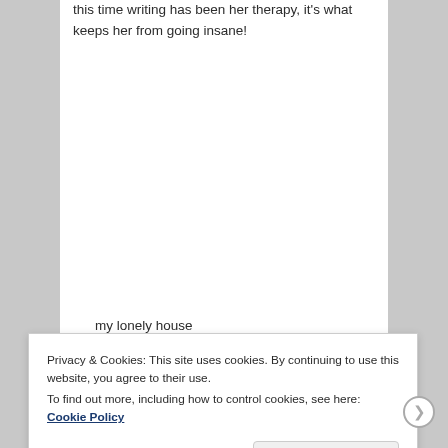this time writing has been her therapy, it's what keeps her from going insane!
my lonely house
Privacy & Cookies: This site uses cookies. By continuing to use this website, you agree to their use.
To find out more, including how to control cookies, see here: Cookie Policy